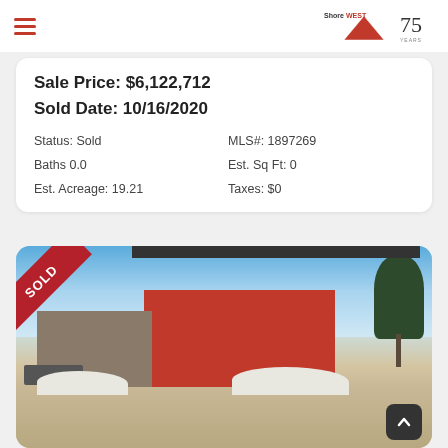ShoreWest 75 Years
Sale Price: $6,122,712
Sold Date: 10/16/2020
Status: Sold
Baths 0.0
Est. Acreage: 19.21
MLS#: 1897269
Est. Sq Ft: 0
Taxes: $0
[Figure (photo): Exterior photo of a multi-unit residential building with red and brick facade, garages, snow piles in foreground, clear blue sky. SOLD ribbon overlay in top-left corner.]